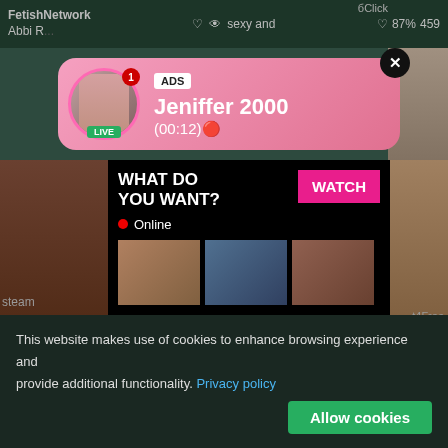FetishNetwork Abbi R...   ♡  ⊙  sexy and ... protective f...  ...7%  459
[Figure (screenshot): Ad popup with avatar showing woman taking selfie, pink gradient background, ADS label, name Jeniffer 2000, time (00:12), LIVE badge, close X button]
ADS
Jeniffer 2000
(00:12)🔴
[Figure (screenshot): Dark ad panel with WHAT DO YOU WANT? text, pink WATCH button, Online indicator with red dot, three blurred thumbnail images, text reading Cumming, ass fucking, squirt or... • ADS]
WHAT DO YOU WANT?
WATCH
● Online
Cumming, ass fucking, squirt or...
• ADS
steam
bdsm
ove
t4Free
бClick
This website makes use of cookies to enhance browsing experience and provide additional functionality.
Privacy policy
Allow cookies